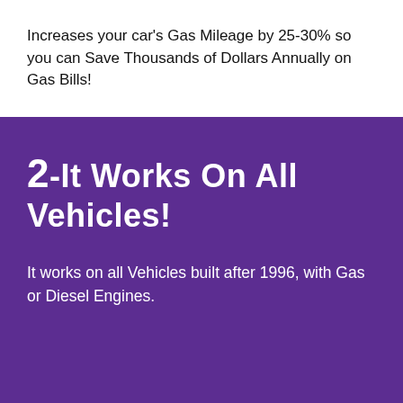Increases your car's Gas Mileage by 25-30% so you can Save Thousands of Dollars Annually on Gas Bills!
2. It Works On All Vehicles!
It works on all Vehicles built after 1996, with Gas or Diesel Engines.